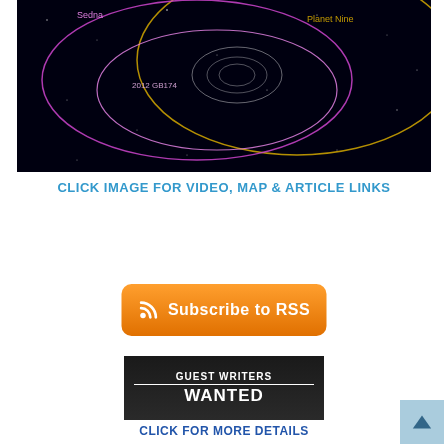[Figure (illustration): Orbital diagram showing planetary orbits including Sedna, 2012 GB174, and Planet Nine on a black background. Colored elliptical orbits shown in purple, pink, and yellow/gold against black space.]
CLICK IMAGE FOR VIDEO, MAP & ARTICLE LINKS
[Figure (other): Orange rounded rectangle button with RSS icon and text 'Subscribe to RSS']
[Figure (other): Dark banner image with bold white text 'GUEST WRITERS WANTED' with a horizontal line between the two lines of text]
CLICK FOR MORE DETAILS